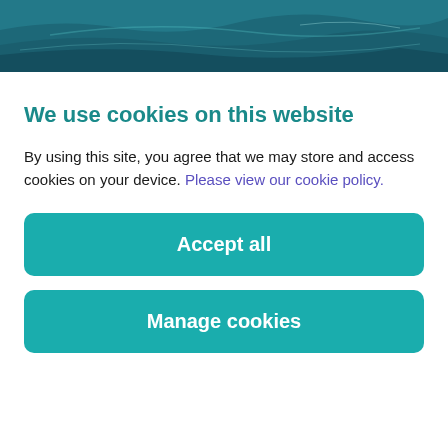[Figure (illustration): Teal/dark teal textured wave pattern banner at the top of the page]
We use cookies on this website
By using this site, you agree that we may store and access cookies on your device. Please view our cookie policy.
Accept all
Manage cookies